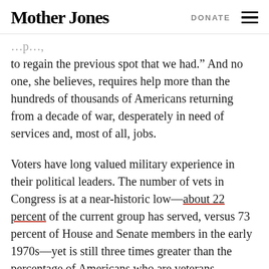Mother Jones | DONATE
to regain the previous spot that we had.” And no one, she believes, requires help more than the hundreds of thousands of Americans returning from a decade of war, desperately in need of services and, most of all, jobs.
Voters have long valued military experience in their political leaders. The number of vets in Congress is at a near-historic low—about 22 percent of the current group has served, versus 73 percent of House and Senate members in the early 1970s—yet is still three times greater than the percentage of Americans who are veterans.